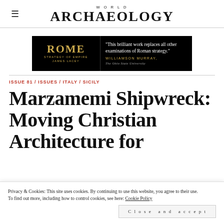WORLD ARCHAEOLOGY
[Figure (illustration): Black advertisement banner for 'Rome: Strategy of Empire by James Lacey' with gold text quote: 'This brilliant work replaces all other examinations of Roman strategy.' — Williamson Murray, The Ohio State University]
ISSUE 81 / ISSUES / ITALY / SICILY
Marzamemi Shipwreck: Moving Christian Architecture for
Privacy & Cookies: This site uses cookies. By continuing to use this website, you agree to their use. To find out more, including how to control cookies, see here: Cookie Policy
Close and accept